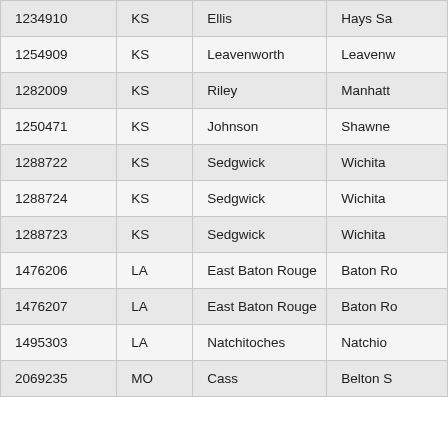| 1234910 | KS | Ellis | Hays Sa… |
| 1254909 | KS | Leavenworth | Leavenw… |
| 1282009 | KS | Riley | Manhatt… |
| 1250471 | KS | Johnson | Shawne… |
| 1288722 | KS | Sedgwick | Wichita |
| 1288724 | KS | Sedgwick | Wichita |
| 1288723 | KS | Sedgwick | Wichita |
| 1476206 | LA | East Baton Rouge | Baton Ro… |
| 1476207 | LA | East Baton Rouge | Baton Ro… |
| 1495303 | LA | Natchitoches | Natchio… |
| 2069235 | MO | Cass | Belton S… |